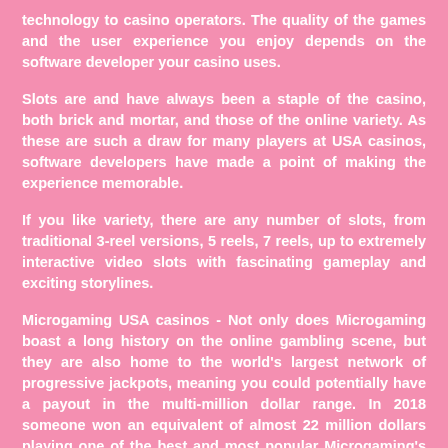technology to casino operators. The quality of the games and the user experience you enjoy depends on the software developer your casino uses.
Slots are and have always been a staple of the casino, both brick and mortar, and those of the online variety. As these are such a draw for many players at USA casinos, software developers have made a point of making the experience memorable.
If you like variety, there are any number of slots, from traditional 3-reel versions, 5 reels, 7 reels, up to extremely interactive video slots with fascinating gameplay and exciting storylines.
Microgaming USA casinos - Not only does Microgaming boast a long history on the online gambling scene, but they are also home to the world's largest network of progressive jackpots, meaning you could potentially have a payout in the multi-million dollar range. In 2018 someone won an equivalent of almost 22 million dollars playing one of the best and most popular Microgaming's slots.
Playtech USA casinos - If the experience matters more to you than the money, you might like Playtech's lineup of slots. With over 130 of the best-rated slot machines, you will find an interesting theme that will keep you coming back for more, including Marvel and Warner Br...